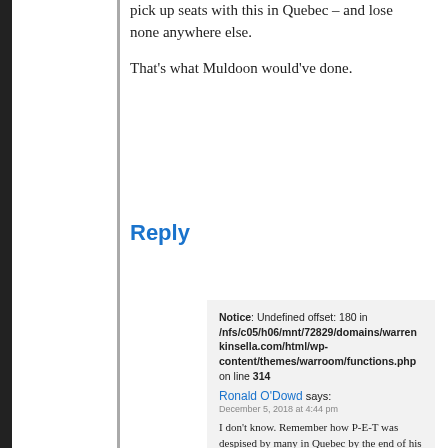pick up seats with this in Quebec – and lose none anywhere else.
That's what Muldoon would've done.
Reply
Notice: Undefined offset: 180 in /nfs/c05/h06/mnt/72829/domains/warrenkinsella.com/html/wp-content/themes/warroom/functions.php on line 314
Ronald O'Dowd says:
December 5, 2018 at 4:44 pm
I don't know. Remember how P-E-T was despised by many in Quebec by the end of his last term, if not before. And yet, Quebec is pretty solid behind Justin, the native-federalist-son.
Trudeau has to play this properly in Quebec. Otherwise, it could create an